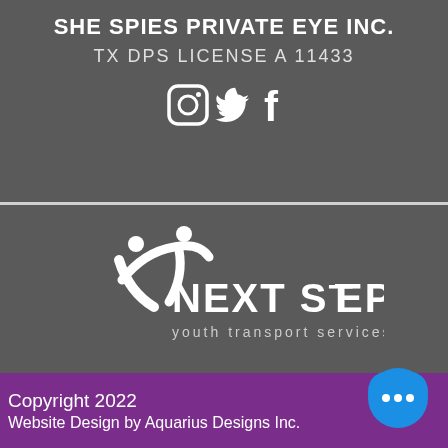SHE SPIES PRIVATE EYE INC.
TX DPS LICENSE A 11433
[Figure (illustration): Three social media icons: Instagram, Twitter (bird), and Facebook, rendered in white on dark gray background]
[Figure (logo): Next Step Youth Transport Services logo with stylized figures and text in white on dark gray background]
Copyright 2022
Website Design by Aquarius Designs Inc.